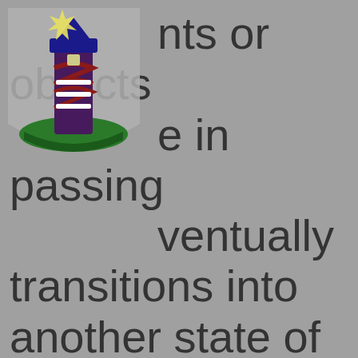[Figure (logo): Lighthouse logo icon with a blue lighthouse tower on a green base, a yellow star-burst glow at top, dark blue and dark red spiral stripe, and three white horizontal lines on the tower body, inside a shield/crest shaped border.]
nts or objects e in passing ventually transitions into another state of being, such as unhappiness or frustration.1